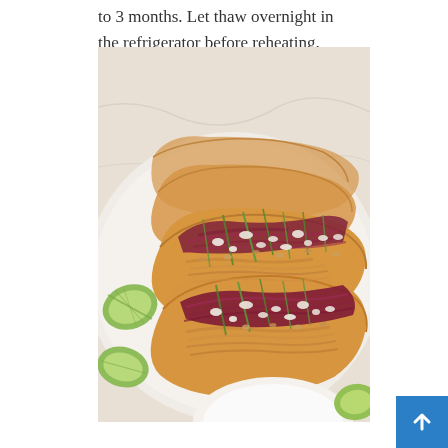to 3 months. Let thaw overnight in the refrigerator before reheating.
[Figure (photo): A plate of chicken tacos with corn tortillas topped with shredded red cabbage, green onions, crushed peanuts, and crumbled cheese, served on a white ceramic plate with lime wedges on the side.]